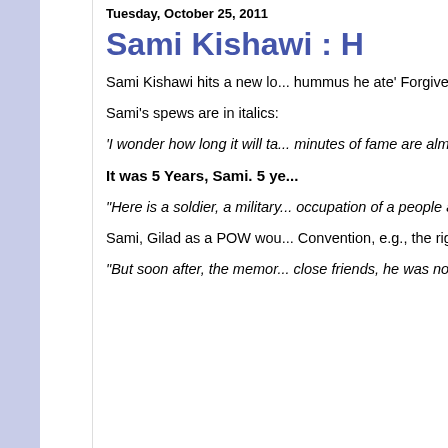Tuesday, October 25, 2011
Sami Kishawi : H
Sami Kishawi hits a new lo... hummus he ate' Forgive me...
Sami's spews are in italics:
'I wonder how long it will ta... minutes of fame are almost...
It was 5 Years, Sami. 5 ye...
"Here is a soldier, a military... occupation of a people and... tens of thousands of his pro... happened to be captured w...
Sami, Gilad as a POW wou... Convention, e.g., the right t... location (Art. 23); and the ri...
"But soon after, the memor... close friends, he was no lo...